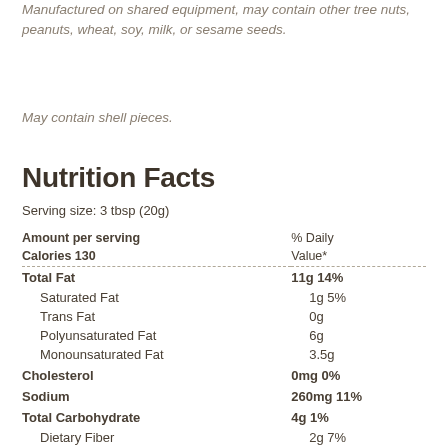Manufactured on shared equipment, may contain other tree nuts, peanuts, wheat, soy, milk, or sesame seeds.
May contain shell pieces.
Nutrition Facts
Serving size: 3 tbsp (20g)
|  |  |
| --- | --- |
| Amount per serving | % Daily |
| Calories 130 | Value* |
| Total Fat | 11g 14% |
| Saturated Fat | 1g 5% |
| Trans Fat | 0g |
| Polyunsaturated Fat | 6g |
| Monounsaturated Fat | 3.5g |
| Cholesterol | 0mg 0% |
| Sodium | 260mg 11% |
| Total Carbohydrate | 4g 1% |
| Dietary Fiber | 2g 7% |